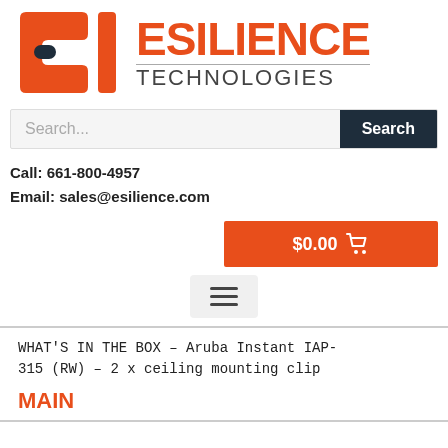[Figure (logo): Esilience Technologies logo with orange 'ET' icon and text 'ESILIENCE TECHNOLOGIES']
[Figure (screenshot): Search bar with placeholder 'Search...' and dark Search button]
Call: 661-800-4957
Email: sales@esilience.com
[Figure (screenshot): Orange cart button showing $0.00 with shopping cart icon]
[Figure (screenshot): Hamburger menu icon in light gray box]
WHAT'S IN THE BOX – Aruba Instant IAP-315 (RW) – 2 x ceiling mounting clip
MAIN